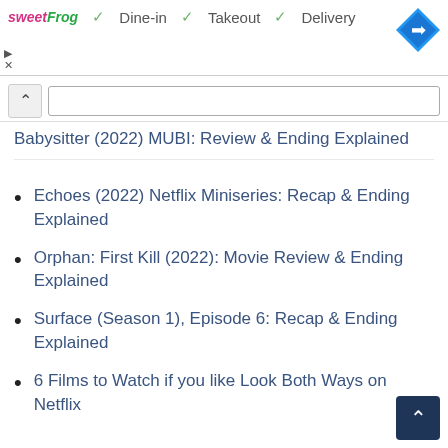[Figure (screenshot): Ad banner for sweetFrog showing Dine-in, Takeout, and Delivery options with a blue navigation diamond icon]
Babysitter (2022) MUBI: Review & Ending Explained
Echoes (2022) Netflix Miniseries: Recap & Ending Explained
Orphan: First Kill (2022): Movie Review & Ending Explained
Surface (Season 1), Episode 6: Recap & Ending Explained
6 Films to Watch if you like Look Both Ways on Netflix